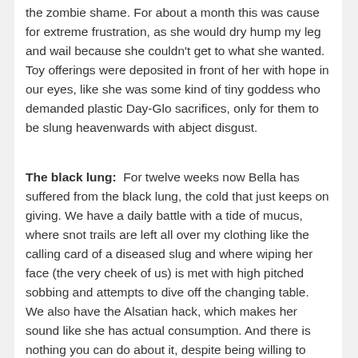the zombie shame. For about a month this was cause for extreme frustration, as she would dry hump my leg and wail because she couldn't get to what she wanted. Toy offerings were deposited in front of her with hope in our eyes, like she was some kind of tiny goddess who demanded plastic Day-Glo sacrifices, only for them to be slung heavenwards with abject disgust.
The black lung:  For twelve weeks now Bella has suffered from the black lung, the cold that just keeps on giving. We have a daily battle with a tide of mucus, where snot trails are left all over my clothing like the calling card of a diseased slug and where wiping her face (the very cheek of us) is met with high pitched sobbing and attempts to dive off the changing table. We also have the Alsatian hack, which makes her sound like she has actual consumption. And there is nothing you can do about it, despite being willing to THROW money at whatever parental placebo comes